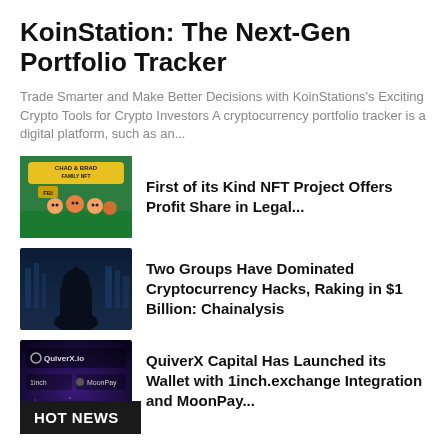KoinStation: The Next-Gen Portfolio Tracker
Trade Smarter and Make Better Decisions with KoinStations's Exciting Crypto Tools for Crypto Investors A cryptocurrency portfolio tracker is a digital platform, such as an...
[Figure (illustration): Chad & Brad Family NFT cartoon image with FBI label and cartoon characters]
First of its Kind NFT Project Offers Profit Share in Legal...
[Figure (photo): Dark silhouette of a hacker figure against a digital city background]
Two Groups Have Dominated Cryptocurrency Hacks, Raking in $1 Billion: Chainalysis
[Figure (screenshot): QuiverX.io wallet app screenshot with 1inch and MoonPay logos on a starry background]
QuiverX Capital Has Launched its Wallet with 1inch.exchange Integration and MoonPay...
HOT NEWS